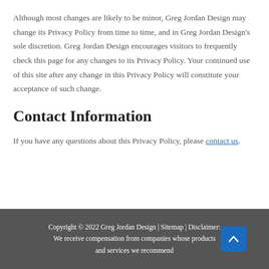Although most changes are likely to be minor, Greg Jordan Design may change its Privacy Policy from time to time, and in Greg Jordan Design's sole discretion. Greg Jordan Design encourages visitors to frequently check this page for any changes to its Privacy Policy. Your continued use of this site after any change in this Privacy Policy will constitute your acceptance of such change.
Contact Information
If you have any questions about this Privacy Policy, please contact us.
Copyright © 2022 Greg Jordan Design | Sitemap | Disclaimer: We receive compensation from companies whose products and services we recommend